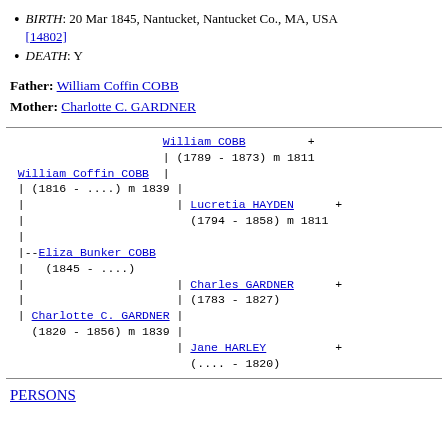BIRTH: 20 Mar 1845, Nantucket, Nantucket Co., MA, USA [14802]
DEATH: Y
Father: William Coffin COBB
Mother: Charlotte C. GARDNER
[Figure (other): Genealogical pedigree/ancestry tree diagram showing Eliza Bunker COBB (1845-....) with parents William Coffin COBB (1816-....) m 1839 and Charlotte C. GARDNER (1820-1856) m 1839, and grandparents William COBB (1789-1873) m 1811, Lucretia HAYDEN (1794-1858) m 1811, Charles GARDNER (1783-1827), Jane HARLEY (....-1820)]
PERSONS